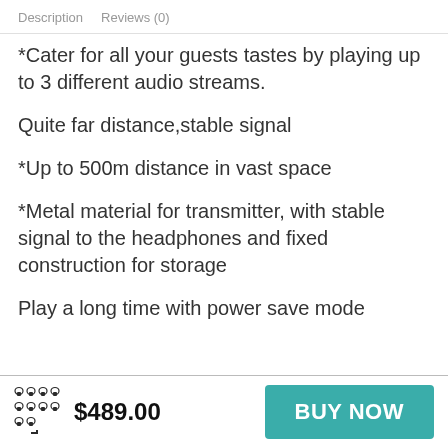Description   Reviews (0)
*Cater for all your guests tastes by playing up to 3 different audio streams.
Quite far distance,stable signal
*Up to 500m distance in vast space
*Metal material for transmitter, with stable signal to the headphones and fixed construction for storage
Play a long time with power save mode
$489.00
BUY NOW